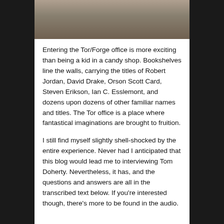[Figure (photo): Two people standing together at what appears to be a convention or book event; one person wearing a blue badge lanyard.]
Entering the Tor/Forge office is more exciting than being a kid in a candy shop. Bookshelves line the walls, carrying the titles of Robert Jordan, David Drake, Orson Scott Card, Steven Erikson, Ian C. Esslemont, and dozens upon dozens of other familiar names and titles. The Tor office is a place where fantastical imaginations are brought to fruition.
I still find myself slightly shell-shocked by the entire experience. Never had I anticipated that this blog would lead me to interviewing Tom Doherty. Nevertheless, it has, and the questions and answers are all in the transcribed text below. If you're interested though, there's more to be found in the audio.